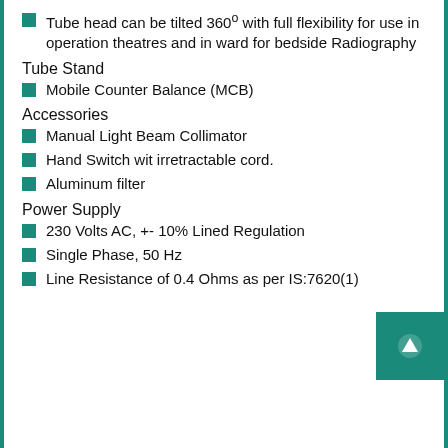Tube head can be tilted 360° with full flexibility for use in operation theatres and in ward for bedside Radiography
Tube Stand
Mobile Counter Balance (MCB)
Accessories
Manual Light Beam Collimator
Hand Switch wit irretractable cord.
Aluminum filter
Power Supply
230 Volts AC, +- 10% Lined Regulation
Single Phase, 50 Hz
Line Resistance of 0.4 Ohms as per IS:7620(1)